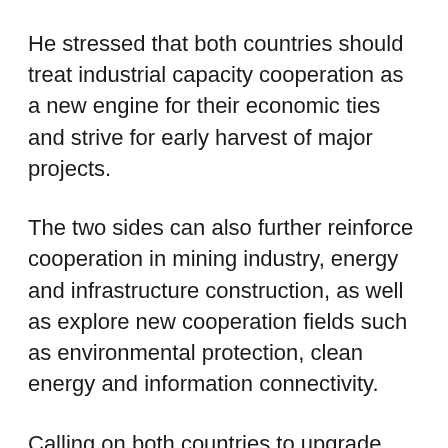He stressed that both countries should treat industrial capacity cooperation as a new engine for their economic ties and strive for early harvest of major projects.
The two sides can also further reinforce cooperation in mining industry, energy and infrastructure construction, as well as explore new cooperation fields such as environmental protection, clean energy and information connectivity.
Calling on both countries to upgrade their free trade agreement signed in 2009 in a bid to inject new vitality into two-way trade, Xi said the Chinese government will continue to encourage capable enterprises to invest in the Latin American country.
In addition, Xi advised both sides to constantly expand exchanges in culture, education, science and technology,